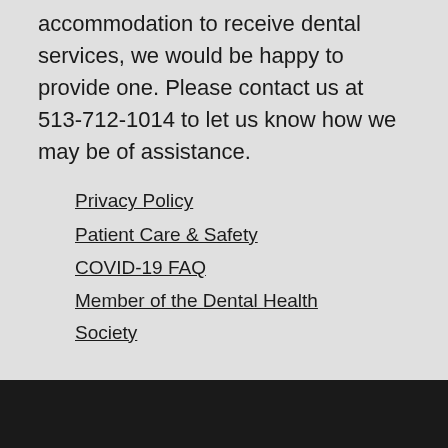accommodation to receive dental services, we would be happy to provide one. Please contact us at 513-712-1014 to let us know how we may be of assistance.
Privacy Policy
Patient Care & Safety
COVID-19 FAQ
Member of the Dental Health Society